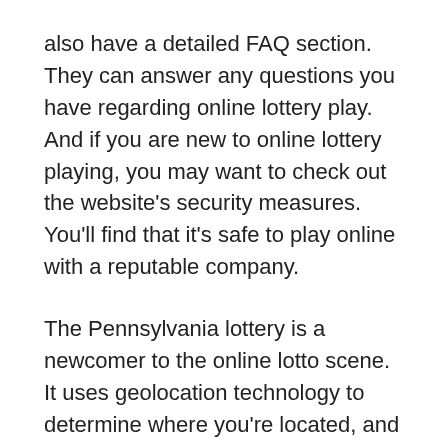also have a detailed FAQ section. They can answer any questions you have regarding online lottery play. And if you are new to online lottery playing, you may want to check out the website's security measures. You'll find that it's safe to play online with a reputable company.
The Pennsylvania lottery is a newcomer to the online lotto scene. It uses geolocation technology to determine where you're located, and you can get money toward your online lottery tickets by signing up with your state's lottery service. Michigan, which started offering an online lotto in 2014, also has instant win